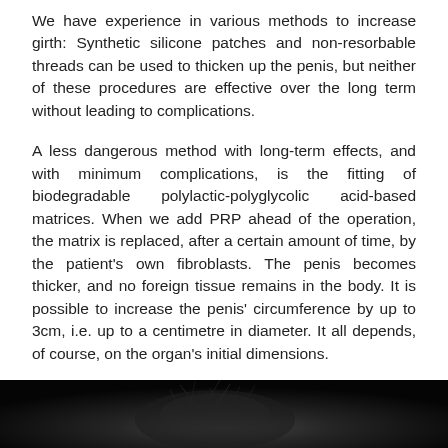We have experience in various methods to increase girth: Synthetic silicone patches and non-resorbable threads can be used to thicken up the penis, but neither of these procedures are effective over the long term without leading to complications.
A less dangerous method with long-term effects, and with minimum complications, is the fitting of biodegradable polylactic-polyglycolic acid-based matrices. When we add PRP ahead of the operation, the matrix is replaced, after a certain amount of time, by the patient's own fibroblasts. The penis becomes thicker, and no foreign tissue remains in the body. It is possible to increase the penis' circumference by up to 3cm, i.e. up to a centimetre in diameter. It all depends, of course, on the organ's initial dimensions.
[Figure (photo): Black and white photograph, partially visible at bottom of page, showing a dark image with some light texture/detail visible against a black background.]